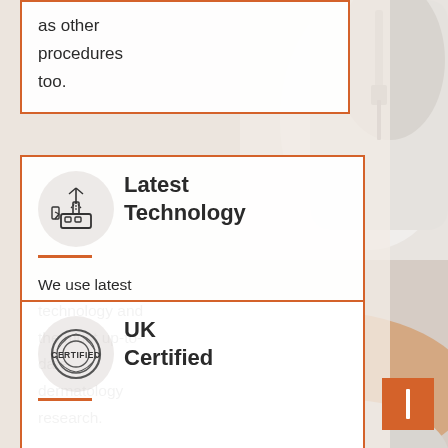[Figure (photo): Medical professional in white coat and gloves holding a syringe above a patient lying down wearing teal surgical cap, clinical/dermatology setting]
as other procedures too.
Latest Technology
We use latest technology and the most up-to-date dermatology research.
UK Certified